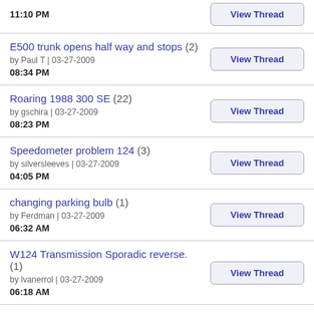11:10 PM
E500 trunk opens half way and stops (2) by Paul T | 03-27-2009 08:34 PM
Roaring 1988 300 SE (22) by gschira | 03-27-2009 08:23 PM
Speedometer problem 124 (3) by silversleeves | 03-27-2009 04:05 PM
changing parking bulb (1) by Ferdman | 03-27-2009 06:32 AM
W124 Transmission Sporadic reverse. (1) by lvanerrol | 03-27-2009 06:18 AM